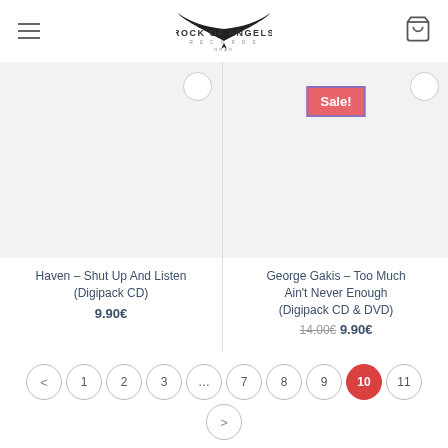Rock Of Angels Records - ROAR
[Figure (screenshot): Product listing page with two CD products: Haven – Shut Up And Listen (Digipack CD) at 9.90€ and George Gakis – Too Much Ain't Never Enough (Digipack CD & DVD) on sale from 14.00€ to 9.90€]
Haven – Shut Up And Listen (Digipack CD)
9.90€
George Gakis – Too Much Ain't Never Enough (Digipack CD & DVD)
14.00€ 9.90€
< 1 2 3 … 7 8 9 10 11 >